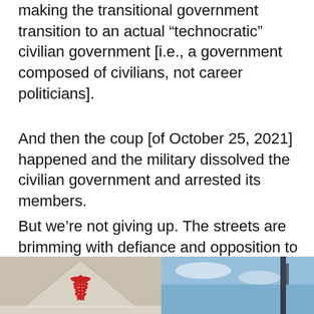making the transitional government transition to an actual “technocratic” civilian government [i.e., a government composed of civilians, not career politicians].
And then the coup [of October 25, 2021] happened and the military dissolved the civilian government and arrested its members.
But we’re not giving up. The streets are brimming with defiance and opposition to them again, although they've murdered 47 revolutionaries and injured 1200 others using tear gas, stun grenades, and live rounds ever since the coup. We’re still protesting and aiming to overthrow them now.
[Figure (photo): Partial image of a sign with a red symbol/logo visible, appears to be a protest-related sign with triangular shape, partially cut off at bottom of page]
[Figure (photo): Partial image showing blue sky and what appears to be a structure or pole, partially cut off at bottom of page]